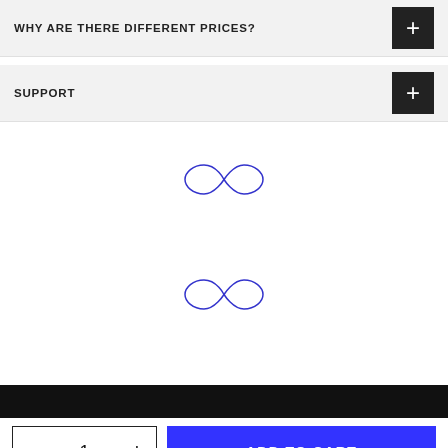WHY ARE THERE DIFFERENT PRICES?
SUPPORT
[Figure (illustration): Loading spinner / infinity-like animated SVG icon in blue outline, appears twice as loading indicators in the content area]
[Figure (illustration): Second loading spinner / infinity-like animated SVG icon in blue outline]
ADD TO CART